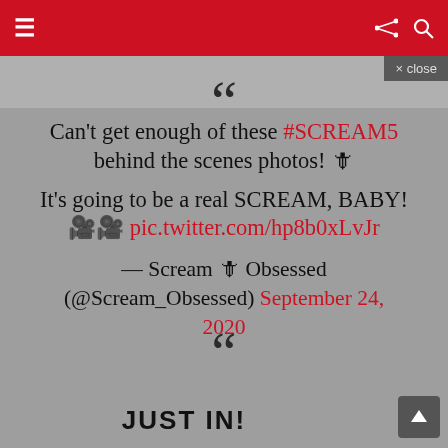≡ (hamburger menu) | share icon | search icon
× close
[Figure (illustration): Large opening quotation marks decorative element]
Can't get enough of these #SCREAM5 behind the scenes photos! 🔪
It's going to be a real SCREAM, BABY! 🎬🎬 pic.twitter.com/hp8b0xLvJr
— Scream 🔪 Obsessed (@Scream_Obsessed) September 24, 2020
[Figure (illustration): Large opening quotation marks decorative element at bottom]
JUST IN!